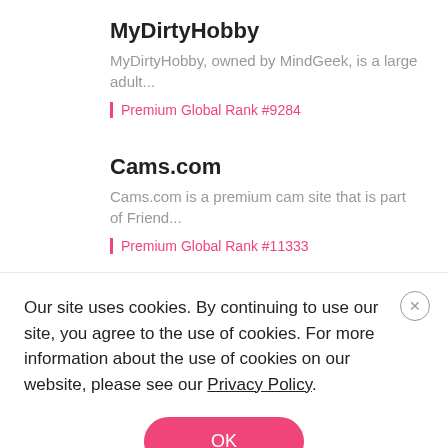MyDirtyHobby
MyDirtyHobby, owned by MindGeek, is a large adult...
Premium Global Rank #9284
Cams.com
Cams.com is a premium cam site that is part of Friend...
Premium Global Rank #11333
Our site uses cookies. By continuing to use our site, you agree to the use of cookies. For more information about the use of cookies on our website, please see our Privacy Policy.
OK